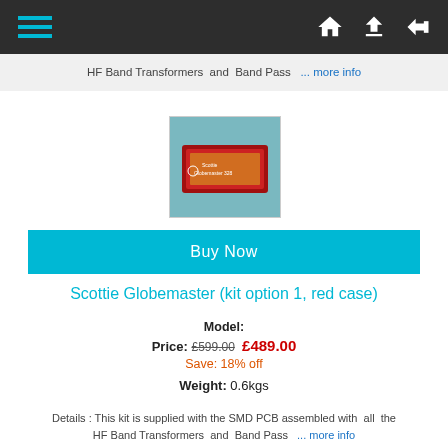Navigation bar with hamburger menu and icons
HF Band Transformers and Band Pass ... more info
[Figure (photo): Photo of Scottie Globemaster kit in red case]
Buy Now
Scottie Globemaster (kit option 1, red case)
Model:
Price: £599.00 £489.00
Save: 18% off
Weight: 0.6kgs
Details : This kit is supplied with the SMD PCB assembled with all the HF Band Transformers and Band Pass ... more info